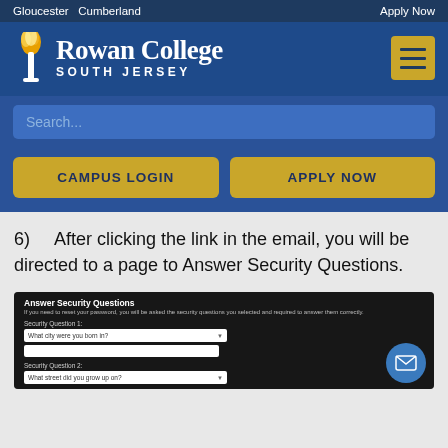Gloucester  Cumberland  Apply Now
[Figure (logo): Rowan College South Jersey logo with torch icon]
Search...
CAMPUS LOGIN
APPLY NOW
6)   After clicking the link in the email, you will be directed to a page to Answer Security Questions.
[Figure (screenshot): Answer Security Questions form screenshot with Security Question 1 dropdown showing 'What city were you born in?' and Security Question 2 dropdown showing 'What street did you grow up on?']